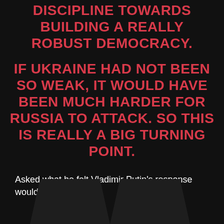DISCIPLINE TOWARDS BUILDING A REALLY ROBUST DEMOCRACY.
IF UKRAINE HAD NOT BEEN SO WEAK, IT WOULD HAVE BEEN MUCH HARDER FOR RUSSIA TO ATTACK. SO THIS IS REALLY A BIG TURNING POINT.
Asked what he felt Vladimir Putin's response would be, Lyne said:
[Figure (illustration): Large decorative quotation mark shapes (dark polygons) at the bottom of the page]